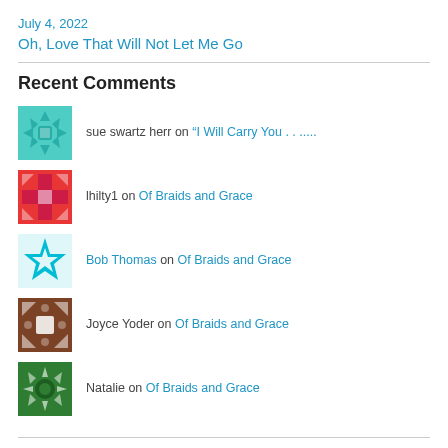July 4, 2022
Oh, Love That Will Not Let Me Go
Recent Comments
sue swartz herr on “I Will Carry You . . .....
lhilty1 on Of Braids and Grace
Bob Thomas on Of Braids and Grace
Joyce Yoder on Of Braids and Grace
Natalie on Of Braids and Grace